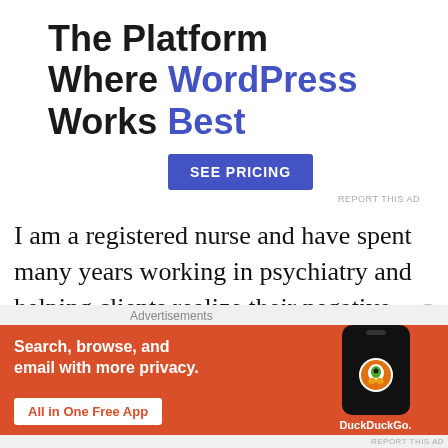The Platform Where WordPress Works Best
SEE PRICING
REPORT THIS AD
I am a registered nurse and have spent many years working in psychiatry and helping clients realize their negative self-
[Figure (infographic): DuckDuckGo advertisement banner with orange background. Text: 'Search, browse, and email with more privacy. All in One Free App'. Shows a smartphone with the DuckDuckGo logo.]